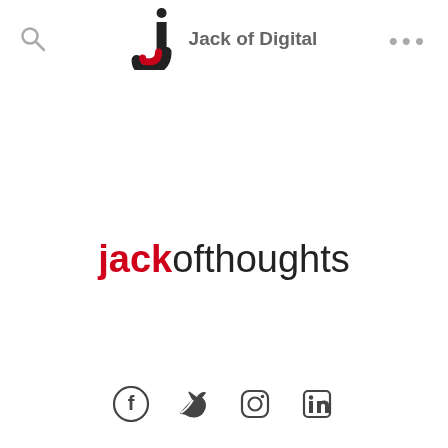Jack of Digital
[Figure (logo): Jack of Digital logo — a stylized letter J in black with red accent, followed by the text 'Jack of Digital' in gray]
[Figure (logo): jackofthoughts wordmark with 'jack' in red bold and 'ofthoughts' in black regular weight]
[Figure (other): Social media icons row: Facebook, Twitter, Instagram, LinkedIn in dark gray]